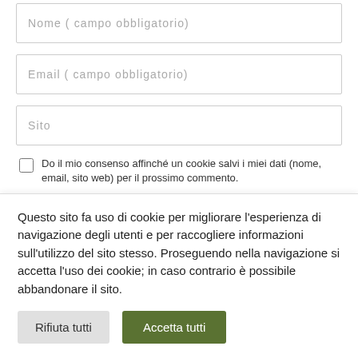Nome (campo obbligatorio)
Email (campo obbligatorio)
Sito
Do il mio consenso affinché un cookie salvi i miei dati (nome, email, sito web) per il prossimo commento.
Questo sito fa uso di cookie per migliorare l'esperienza di navigazione degli utenti e per raccogliere informazioni sull'utilizzo del sito stesso. Proseguendo nella navigazione si accetta l'uso dei cookie; in caso contrario è possibile abbandonare il sito.
Rifiuta tutti
Accetta tutti